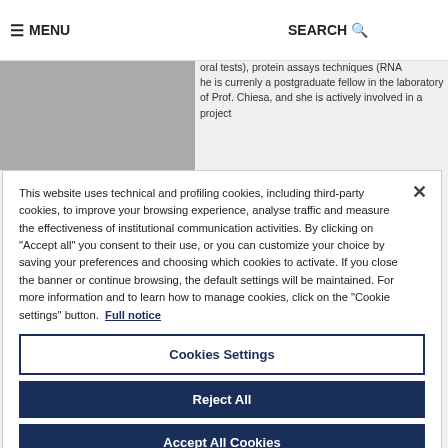≡ MENU    SEARCH 🔍
oral tests), protein assays techniques (RNA 
he is currenly a postgraduate fellow in the laboratory of Prof. Chiesa, and she is actively involved in a project
This website uses technical and profiling cookies, including third-party cookies, to improve your browsing experience, analyse traffic and measure the effectiveness of institutional communication activities. By clicking on "Accept all" you consent to their use, or you can customize your choice by saving your preferences and choosing which cookies to activate. If you close the banner or continue browsing, the default settings will be maintained. For more information and to learn how to manage cookies, click on the "Cookie settings" button. Full notice
Cookies Settings
Reject All
Accept All Cookies